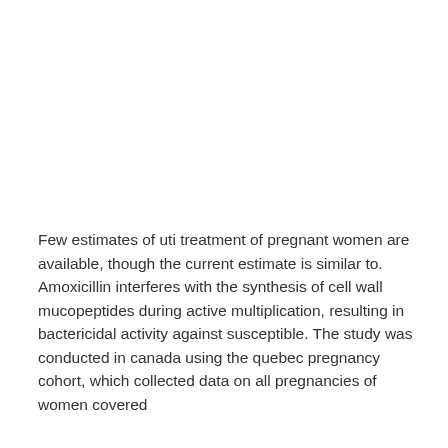Few estimates of uti treatment of pregnant women are available, though the current estimate is similar to. Amoxicillin interferes with the synthesis of cell wall mucopeptides during active multiplication, resulting in bactericidal activity against susceptible. The study was conducted in canada using the quebec pregnancy cohort, which collected data on all pregnancies of women covered by the provincial public health insurance